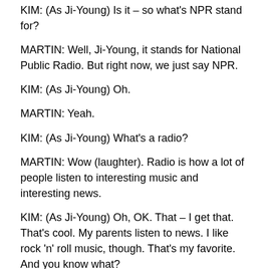KIM: (As Ji-Young) Is it – so what's NPR stand for?
MARTIN: Well, Ji-Young, it stands for National Public Radio. But right now, we just say NPR.
KIM: (As Ji-Young) Oh.
MARTIN: Yeah.
KIM: (As Ji-Young) What's a radio?
MARTIN: Wow (laughter). Radio is how a lot of people listen to interesting music and interesting news.
KIM: (As Ji-Young) Oh, OK. That – I get that. That's cool. My parents listen to news. I like rock 'n' roll music, though. That's my favorite. And you know what?
MARTIN: What?